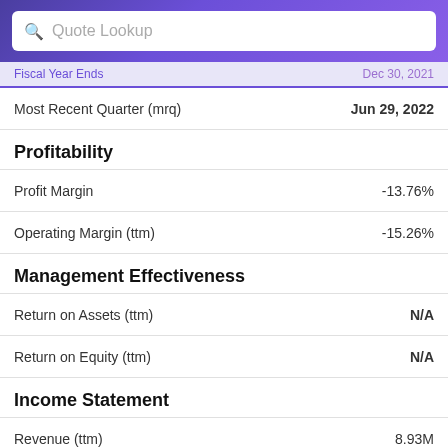Quote Lookup
Fiscal Year Ends   Dec 30, 2021
Most Recent Quarter (mrq)   Jun 29, 2022
Profitability
Profit Margin   -13.76%
Operating Margin (ttm)   -15.26%
Management Effectiveness
Return on Assets (ttm)   N/A
Return on Equity (ttm)   N/A
Income Statement
Revenue (ttm)   8.93M
Revenue Per Share (ttm)   0.04